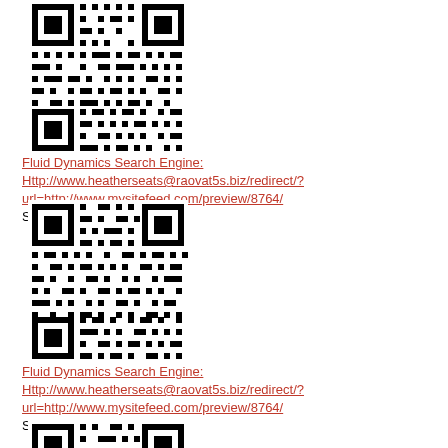[Figure (other): QR code image (top)]
Fluid Dynamics Search Engine: Http://www.heatherseats@raovat5s.biz/redirect/?url=http://www.mysitefeed.com/preview/8764/
Site Search Engine ...
[Figure (other): QR code image (middle)]
Fluid Dynamics Search Engine: Http://www.heatherseats@raovat5s.biz/redirect/?url=http://www.mysitefeed.com/preview/8764/
Site Search Engine ...
[Figure (other): QR code image (bottom, partially visible)]